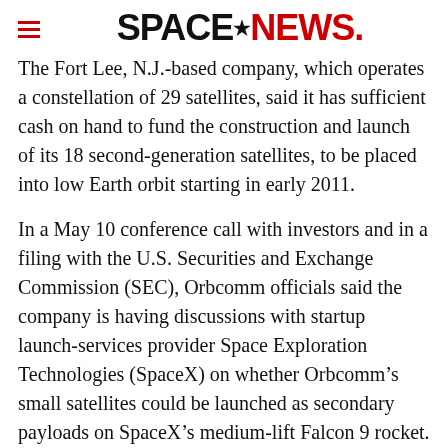SPACENEWS
The Fort Lee, N.J.-based company, which operates a constellation of 29 satellites, said it has sufficient cash on hand to fund the construction and launch of its 18 second-generation satellites, to be placed into low Earth orbit starting in early 2011.
In a May 10 conference call with investors and in a filing with the U.S. Securities and Exchange Commission (SEC), Orbcomm officials said the company is having discussions with startup launch-services provider Space Exploration Technologies (SpaceX) on whether Orbcomm’s small satellites could be launched as secondary payloads on SpaceX’s medium-lift Falcon 9 rocket.
Hawthorne, Calif.-based SpaceX is under a $46.6